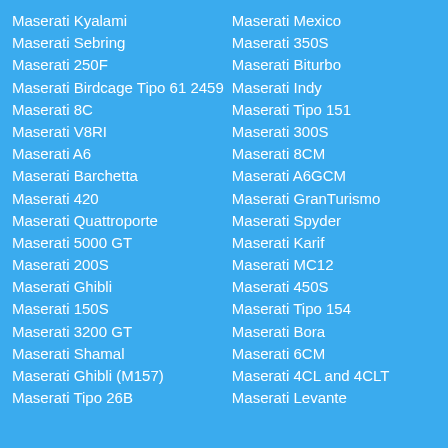Maserati Kyalami
Maserati Sebring
Maserati 250F
Maserati Birdcage Tipo 61 2459
Maserati 8C
Maserati V8RI
Maserati A6
Maserati Barchetta
Maserati 420
Maserati Quattroporte
Maserati 5000 GT
Maserati 200S
Maserati Ghibli
Maserati 150S
Maserati 3200 GT
Maserati Shamal
Maserati Ghibli (M157)
Maserati Tipo 26B
Maserati Mexico
Maserati 350S
Maserati Biturbo
Maserati Indy
Maserati Tipo 151
Maserati 300S
Maserati 8CM
Maserati A6GCM
Maserati GranTurismo
Maserati Spyder
Maserati Karif
Maserati MC12
Maserati 450S
Maserati Tipo 154
Maserati Bora
Maserati 6CM
Maserati 4CL and 4CLT
Maserati Levante